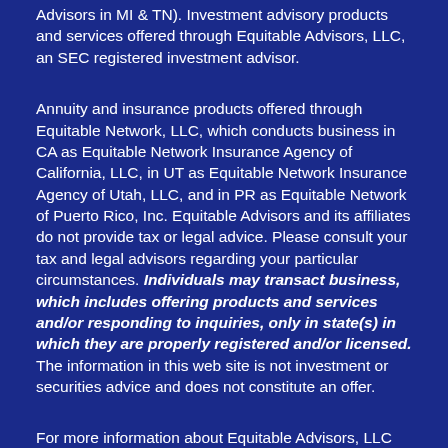Advisors in MI & TN). Investment advisory products and services offered through Equitable Advisors, LLC, an SEC registered investment advisor.
Annuity and insurance products offered through Equitable Network, LLC, which conducts business in CA as Equitable Network Insurance Agency of California, LLC, in UT as Equitable Network Insurance Agency of Utah, LLC, and in PR as Equitable Network of Puerto Rico, Inc. Equitable Advisors and its affiliates do not provide tax or legal advice. Please consult your tax and legal advisors regarding your particular circumstances. Individuals may transact business, which includes offering products and services and/or responding to inquiries, only in state(s) in which they are properly registered and/or licensed. The information in this web site is not investment or securities advice and does not constitute an offer.
For more information about Equitable Advisors, LLC you